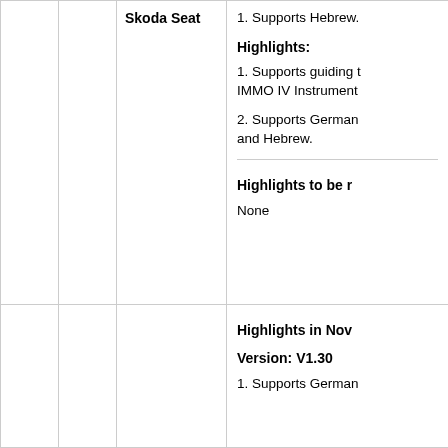|  |  | Skoda Seat | 1. Supports Hebrew.

Highlights:

1. Supports guiding t… IMMO IV Instrument…

2. Supports German… and Hebrew.

Highlights to be r…

None |
|  |  |  | Highlights in Nov

Version: V1.30

1. Supports German… |